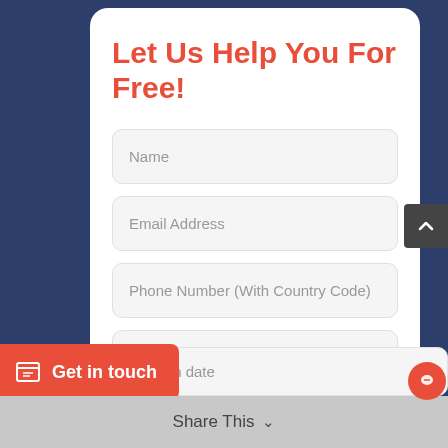Let Us Help You For Free!
Name
Email Address
Phone Number (With Country Code)
Your University or College Name
Move in date
Get in touch
Share This